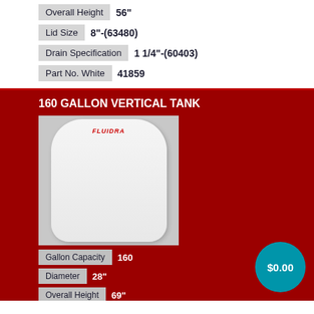Overall Height  56"
Lid Size  8"-(63480)
Drain Specification  1 1/4"-(60403)
Part No. White  41859
160 GALLON VERTICAL TANK
[Figure (photo): White vertical cylindrical tank with rounded top and bottom, FLUIDRA logo in red at top]
Gallon Capacity  160
Diameter  28"
Overall Height  69"
Lid Size  8"-(63480)
Drain Specification  2"-(63481) 2" Siphon (60335)
Part No. White  41537